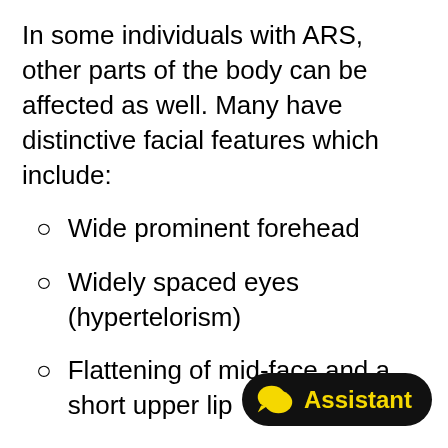In some individuals with ARS, other parts of the body can be affected as well. Many have distinctive facial features which include:
Wide prominent forehead
Widely spaced eyes (hypertelorism)
Flattening of mid-face and a short upper lip
Broad and flat nasal bridge
In addition, some may have abnormalities such as u...